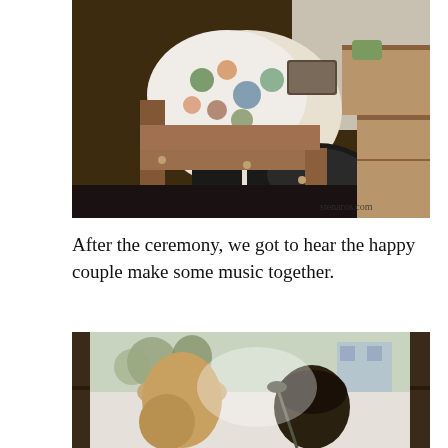[Figure (photo): Person seated on a wooden chair/bench, wearing a floral patterned top and black pants, viewed from above. A watermark 'stenaros.com' is visible in the lower right corner.]
After the ceremony, we got to hear the happy couple make some music together.
[Figure (photo): Two people making music together, viewed through a window, outdoors with trees visible in background.]